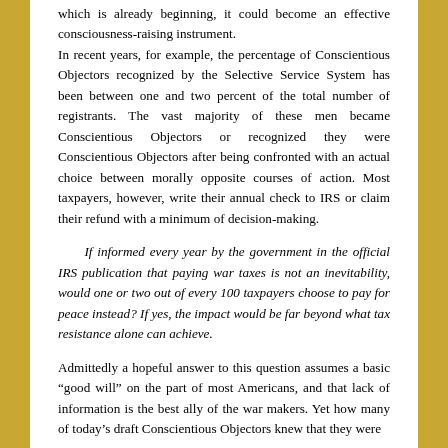which is already beginning, it could become an effective consciousness-raising instrument.
In recent years, for example, the percentage of Conscientious Objectors recognized by the Selective Service System has been between one and two percent of the total number of registrants. The vast majority of these men became Conscientious Objectors or recognized they were Conscientious Objectors after being confronted with an actual choice between morally opposite courses of action. Most taxpayers, however, write their annual check to IRS or claim their refund with a minimum of decision-making.
If informed every year by the government in the official IRS publication that paying war taxes is not an inevitability, would one or two out of every 100 taxpayers choose to pay for peace instead? If yes, the impact would be far beyond what tax resistance alone can achieve.
Admittedly a hopeful answer to this question assumes a basic “good will” on the part of most Americans, and that lack of information is the best ally of the war makers. Yet how many of today’s draft Conscientious Objectors knew that they were